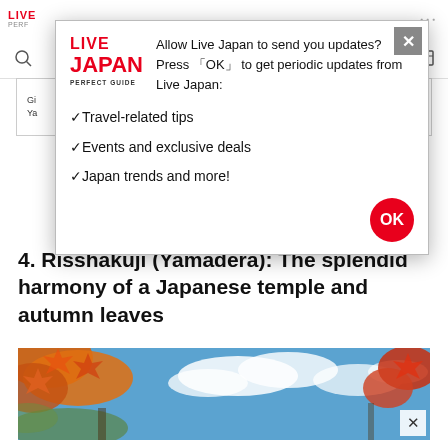LIVE JAPAN PERFECT GUIDE
[Figure (screenshot): Notification permission modal dialog for Live Japan website. Contains Live Japan logo, text asking to allow notifications, list items: Travel-related tips, Events and exclusive deals, Japan trends and more!, and an OK button.]
4. Risshakuji (Yamadera): The splendid harmony of a Japanese temple and autumn leaves
[Figure (photo): Autumn leaves photo showing orange and red maple leaves against a blue sky with white clouds. Partial view of Risshakuji (Yamadera) temple surroundings.]